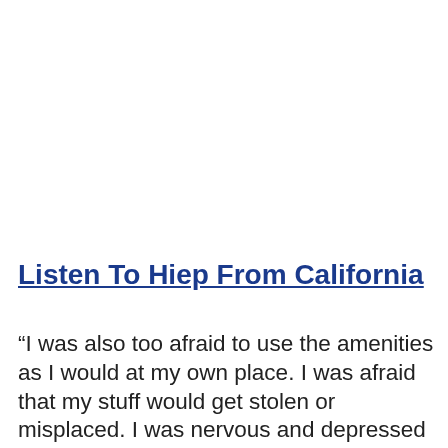Listen To Hiep From California
“I was also too afraid to use the amenities as I would at my own place. I was afraid that my stuff would get stolen or misplaced. I was nervous and depressed and felt abandoned. I was trying really hard to stay in